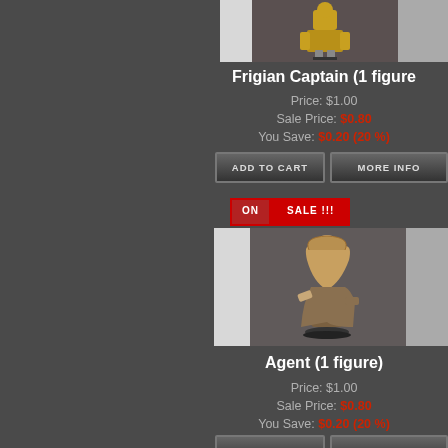[Figure (photo): Product image strip for Frigian Captain miniature figure - left white panel, center dark panel with armored figure, right gray panel]
Frigian Captain (1 figure
Price: $1.00
Sale Price: $0.80
You Save: $0.20 (20 %)
[Figure (other): ADD TO CART button]
[Figure (other): MORE INFO button]
[Figure (other): ON SALE !!! banner]
[Figure (photo): Product image strip for Agent miniature figure - left white panel, center dark panel with hooded figure, right gray panel]
Agent (1 figure)
Price: $1.00
Sale Price: $0.80
You Save: $0.20 (20 %)
[Figure (other): ADD TO CART button]
[Figure (other): MORE INFO button]